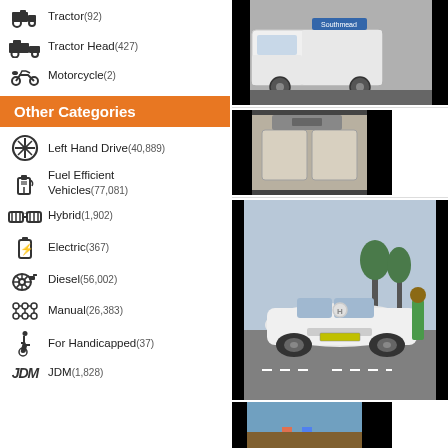Tractor(92)
Tractor Head(427)
Motorcycle(2)
Other Categories
Left Hand Drive(40,889)
Fuel Efficient Vehicles(77,081)
Hybrid(1,902)
Electric(367)
Diesel(56,002)
Manual(26,383)
For Handicapped(37)
JDM(1,828)
[Figure (photo): White mini truck/kei truck parked indoors]
[Figure (photo): Interior of a vehicle showing seats]
[Figure (photo): White Honda car with person standing next to it outdoors]
[Figure (photo): People outdoors near vehicles]